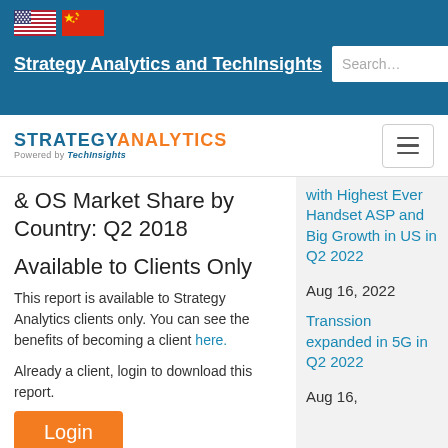Strategy Analytics and TechInsights
[Figure (logo): Strategy Analytics powered by TechInsights logo]
& OS Market Share by Country: Q2 2018
Available to Clients Only
This report is available to Strategy Analytics clients only. You can see the benefits of becoming a client here.
Already a client, login to download this report.
To discuss pricing options please contact our sales representative.